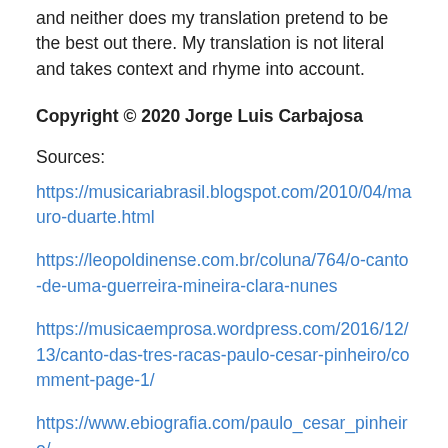and neither does my translation pretend to be the best out there. My translation is not literal and takes context and rhyme into account.
Copyright © 2020 Jorge Luis Carbajosa
Sources:
https://musicariabrasil.blogspot.com/2010/04/mauro-duarte.html
https://leopoldinense.com.br/coluna/764/o-canto-de-uma-guerreira-mineira-clara-nunes
https://musicaemprosa.wordpress.com/2016/12/13/canto-das-tres-racas-paulo-cesar-pinheiro/comment-page-1/
https://www.ebiografia.com/paulo_cesar_pinheiro/
https://musicaemprosa.wordpress.com/2016/12/13/canto-